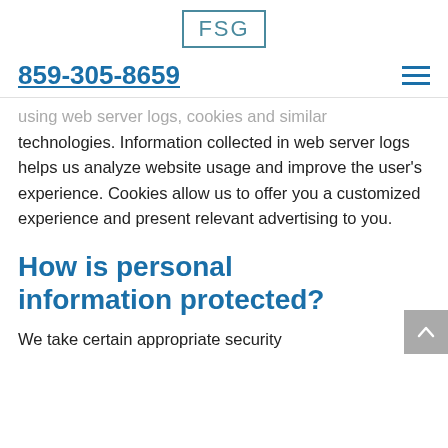FSG
859-305-8659
using web server logs, cookies and similar technologies. Information collected in web server logs helps us analyze website usage and improve the user's experience. Cookies allow us to offer you a customized experience and present relevant advertising to you.
How is personal information protected?
We take certain appropriate security